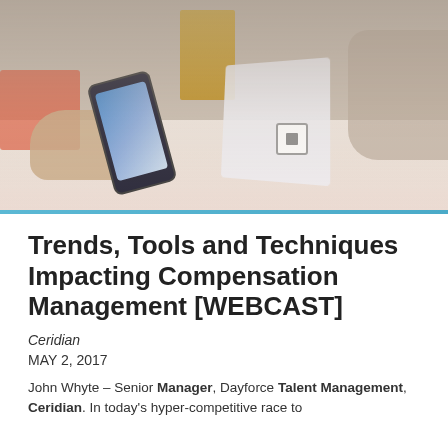[Figure (photo): Photo of two people at a retail counter; one person holds a smartphone near a Square card reader on the table, with a cardboard box and orange/coral clipboard visible]
Trends, Tools and Techniques Impacting Compensation Management [WEBCAST]
Ceridian
MAY 2, 2017
John Whyte – Senior Manager, Dayforce Talent Management, Ceridian. In today's hyper-competitive race to